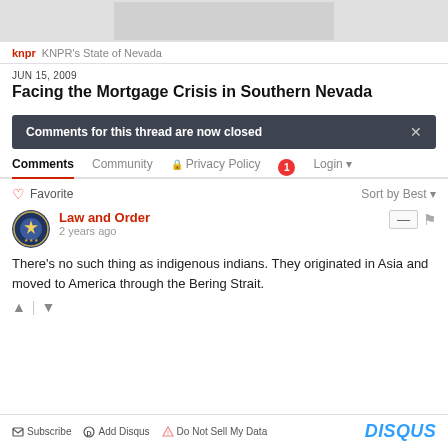[Figure (other): Partial map/image at top of page]
knpr  KNPR's State of Nevada
JUN 15, 2009
Facing the Mortgage Crisis in Southern Nevada
Comments for this thread are now closed
Comments  Community  Privacy Policy  Login
Favorite  Sort by Best
Law and Order
2 years ago
There's no such thing as indigenous indians. They originated in Asia and moved to America through the Bering Strait.
Subscribe  Add Disqus  Do Not Sell My Data  DISQUS